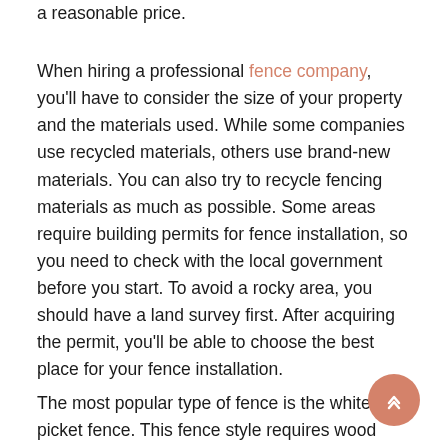a reasonable price.
When hiring a professional fence company, you'll have to consider the size of your property and the materials used. While some companies use recycled materials, others use brand-new materials. You can also try to recycle fencing materials as much as possible. Some areas require building permits for fence installation, so you need to check with the local government before you start. To avoid a rocky area, you should have a land survey first. After acquiring the permit, you'll be able to choose the best place for your fence installation.
The most popular type of fence is the white picket fence. This fence style requires wood posts and whitewashing. Wooden fences require regular